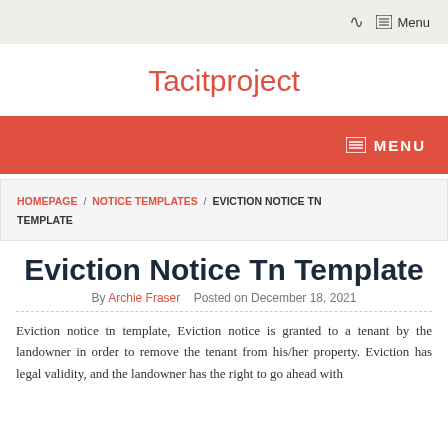RSS  Menu
Tacitproject
MENU
HOMEPAGE / NOTICE TEMPLATES / EVICTION NOTICE TN TEMPLATE
Eviction Notice Tn Template
By Archie Fraser   Posted on December 18, 2021
Eviction notice tn template, Eviction notice is granted to a tenant by the landowner in order to remove the tenant from his/her property. Eviction has legal validity, and the landowner has the right to go ahead with